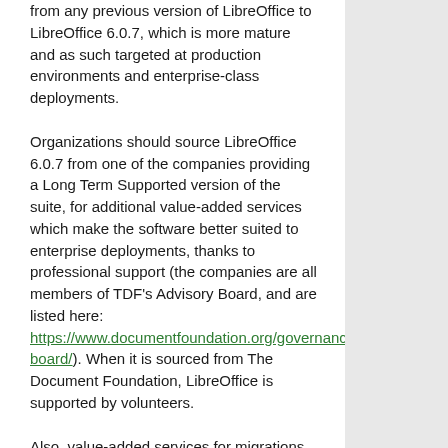from any previous version of LibreOffice to LibreOffice 6.0.7, which is more mature and as such targeted at production environments and enterprise-class deployments.
Organizations should source LibreOffice 6.0.7 from one of the companies providing a Long Term Supported version of the suite, for additional value-added services which make the software better suited to enterprise deployments, thanks to professional support (the companies are all members of TDF's Advisory Board, and are listed here: https://www.documentfoundation.org/governance/advisory-board/). When it is sourced from The Document Foundation, LibreOffice is supported by volunteers.
Also, value-added services for migrations and trainings, to support enterprise-class